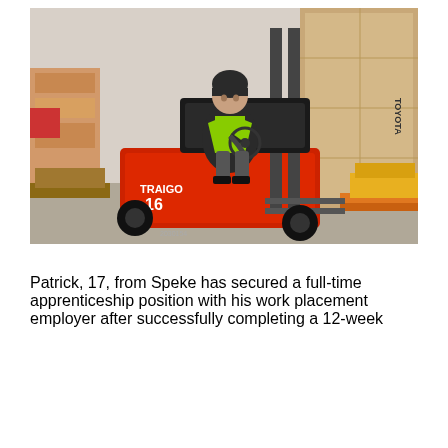[Figure (photo): A young person wearing a high-visibility green vest and dark clothing sitting on a red Toyota forklift (TRAIGO 16) inside a warehouse. Stacked pallets of cardboard boxes and goods are visible in the background.]
Patrick, 17, from Speke has secured a full-time apprenticeship position with his work placement employer after successfully completing a 12-week